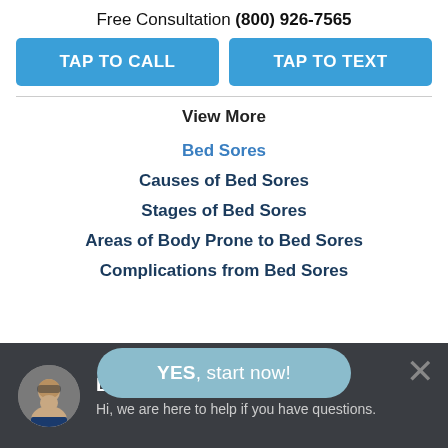Free Consultation (800) 926-7565
TAP TO CALL
TAP TO TEXT
View More
Bed Sores
Causes of Bed Sores
Stages of Bed Sores
Areas of Body Prone to Bed Sores
Complications from Bed Sores
YES, start now!
LIVE CHAT
Hi, we are here to help if you have questions.